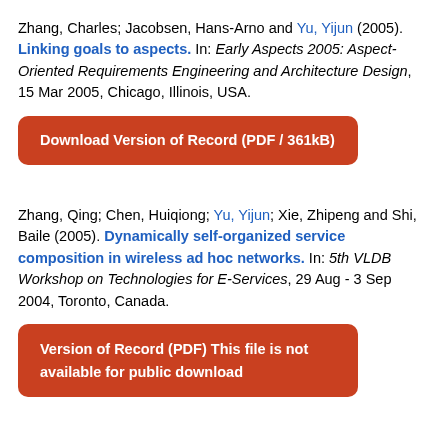Zhang, Charles; Jacobsen, Hans-Arno and Yu, Yijun (2005). Linking goals to aspects. In: Early Aspects 2005: Aspect-Oriented Requirements Engineering and Architecture Design, 15 Mar 2005, Chicago, Illinois, USA.
Download Version of Record (PDF / 361kB)
Zhang, Qing; Chen, Huiqiong; Yu, Yijun; Xie, Zhipeng and Shi, Baile (2005). Dynamically self-organized service composition in wireless ad hoc networks. In: 5th VLDB Workshop on Technologies for E-Services, 29 Aug - 3 Sep 2004, Toronto, Canada.
Version of Record (PDF) This file is not available for public download